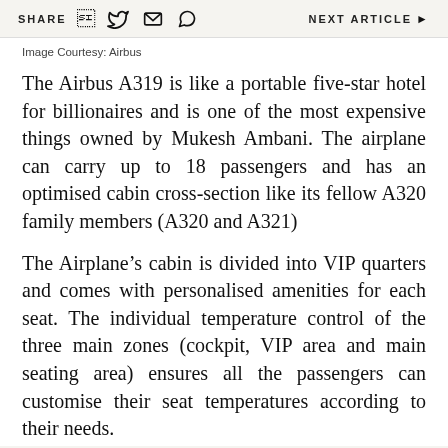SHARE   NEXT ARTICLE
Image Courtesy: Airbus
The Airbus A319 is like a portable five-star hotel for billionaires and is one of the most expensive things owned by Mukesh Ambani. The airplane can carry up to 18 passengers and has an optimised cabin cross-section like its fellow A320 family members (A320 and A321)
The Airplane’s cabin is divided into VIP quarters and comes with personalised amenities for each seat. The individual temperature control of the three main zones (cockpit, VIP area and main seating area) ensures all the passengers can customise their seat temperatures according to their needs.